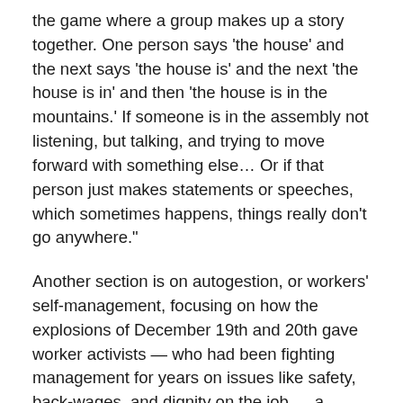the game where a group makes up a story together. One person says 'the house' and the next says 'the house is' and the next 'the house is in' and then 'the house is in the mountains.' If someone is in the assembly not listening, but talking, and trying to move forward with something else… Or if that person just makes statements or speeches, which sometimes happens, things really don't go anywhere."
Another section is on autogestion, or workers' self-management, focusing on how the explosions of December 19th and 20th gave worker activists — who had been fighting management for years on issues like safety, back-wages, and dignity on the job — a chance to demonstrate a different way of doing things. Workers who were owed tons of money kept factories, clinics, bakeries and distribution centers open, but kept the profits for themselves instead of giving it over to the